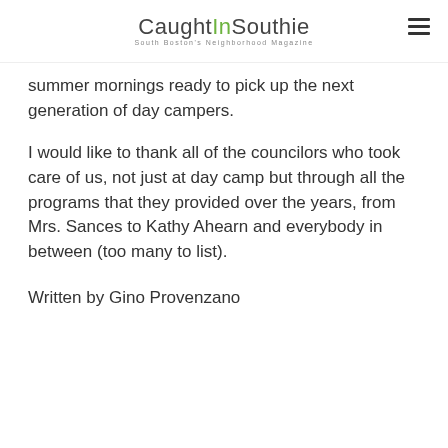CaughtInSouthie — South Boston's Neighborhood Magazine
summer mornings ready to pick up the next generation of day campers.
I would like to thank all of the councilors who took care of us, not just at day camp but through all the programs that they provided over the years, from Mrs. Sances to Kathy Ahearn and everybody in between (too many to list).
Written by Gino Provenzano
[Figure (screenshot): Social sharing buttons: Facebook (blue), Twitter (cyan), Pinterest (red), Email (dark gray), and a scroll-to-top button (dark gray circle with upward chevron). Below is the start of an author card with a gray placeholder avatar.]